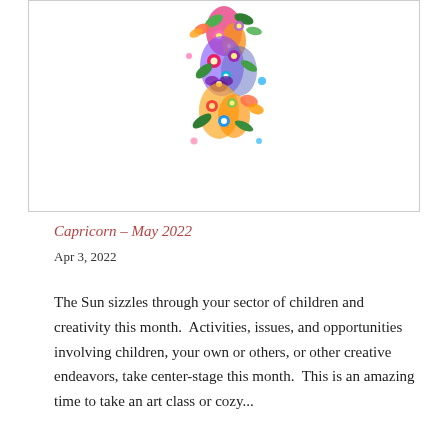[Figure (illustration): A colorful floral illustration shaped like a figure or the number 5, made up of flowers, butterflies, and leaves in vibrant colors including pink, purple, orange, green, blue, and yellow against a white background]
Capricorn – May 2022
Apr 3, 2022
The Sun sizzles through your sector of children and creativity this month.  Activities, issues, and opportunities involving children, your own or others, or other creative endeavors, take center-stage this month.  This is an amazing time to take an art class or cozy...